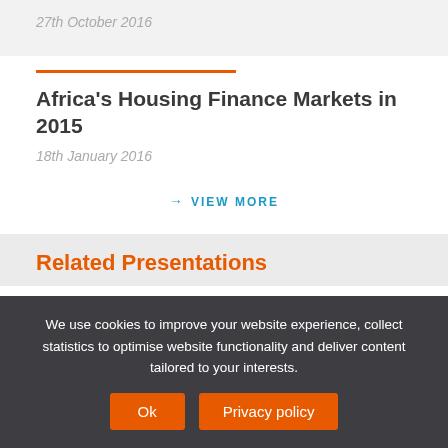27th October 2016
Africa's Housing Finance Markets in 2015
18th January 2016
→ VIEW MORE
Related Presentations
We use cookies to improve your website experience, collect statistics to optimise website functionality and deliver content tailored to your interests.